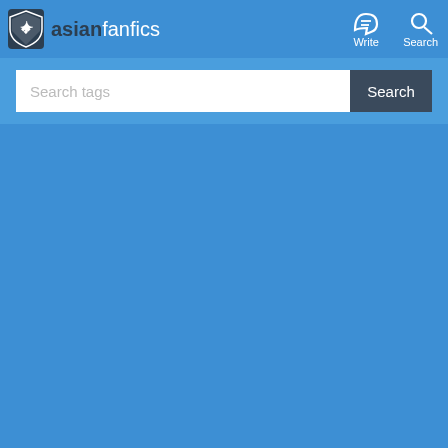[Figure (logo): AsianFanfics logo with shield icon and text 'asianfanfics' in dark and white lettering, with Write and Search navigation icons top right]
Search tags
Search